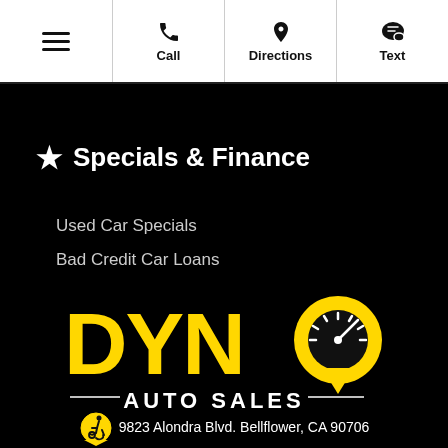☰  Call  Directions  Text
★ Specials & Finance
Used Car Specials
Bad Credit Car Loans
[Figure (logo): Dyno Auto Sales logo in yellow on black background]
9823 Alondra Blvd. Bellflower, CA 90706